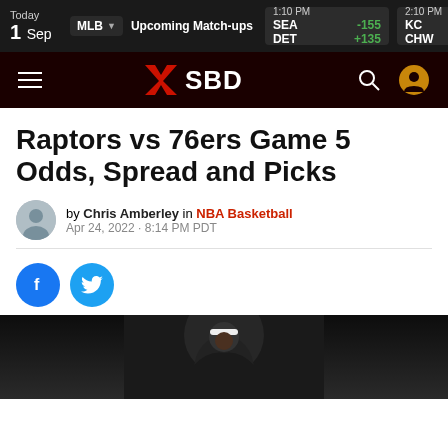MLB Upcoming Match-ups | Today 1 Sep | SEA -155, DET +135 | KC +175, CHW -205 | OAK, WAS 4:05 P
[Figure (logo): SBD sports betting website navigation bar with hamburger menu, X SBD logo in red and white, search and user icons]
Raptors vs 76ers Game 5 Odds, Spread and Picks
by Chris Amberley in NBA Basketball
Apr 24, 2022 · 8:14 PM PDT
[Figure (photo): Social share buttons: Facebook (blue circle with f) and Twitter (light blue circle with bird icon)]
[Figure (photo): Basketball player wearing white headband, dark background, partial cropped image at bottom of page]